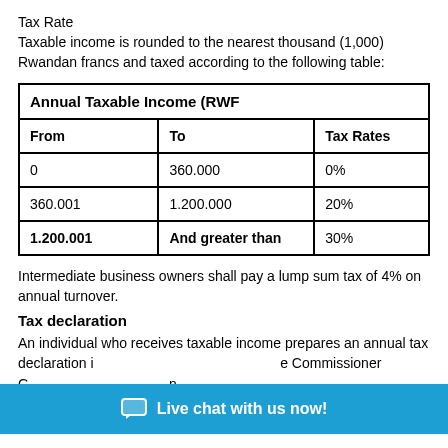Tax Rate
Taxable income is rounded to the nearest thousand (1,000) Rwandan francs and taxed according to the following table:
| Annual Taxable Income (RWF |  |  |
| --- | --- | --- |
| From | To | Tax Rates |
| 0 | 360.000 | 0% |
| 360.001 | 1.200.000 | 20% |
| 1.200.001 | And greater than | 30% |
Intermediate business owners shall pay a lump sum tax of 4% on annual turnover.
Tax declaration
An individual who receives taxable income prepares an annual tax declaration in ... the Commissioner G... n